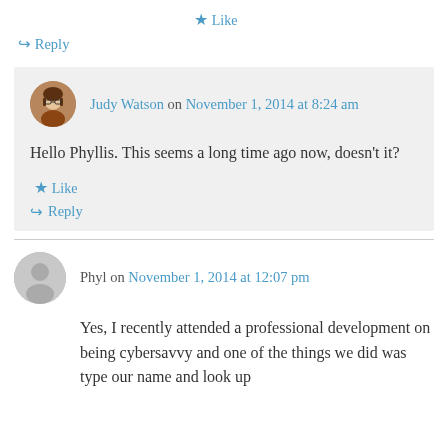★ Like
↪ Reply
Judy Watson on November 1, 2014 at 8:24 am
Hello Phyllis. This seems a long time ago now, doesn't it?
★ Like
↪ Reply
Phyl on November 1, 2014 at 12:07 pm
Yes, I recently attended a professional development on being cybersavvy and one of the things we did was type our name and look up